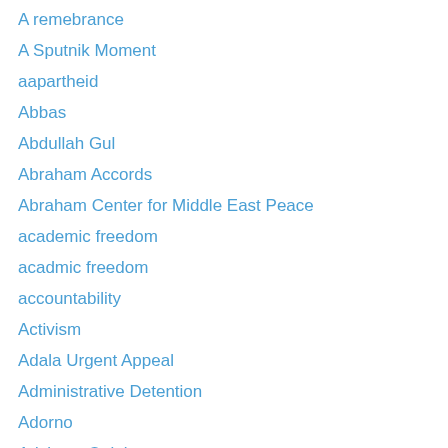A remebrance
A Sputnik Moment
aapartheid
Abbas
Abdullah Gul
Abraham Accords
Abraham Center for Middle East Peace
academic freedom
acadmic freedom
accountability
Activism
Adala Urgent Appeal
Administrative Detention
Adorno
Advisory Opinion
Afghanistan
Africa
Age
Ageing
aggression